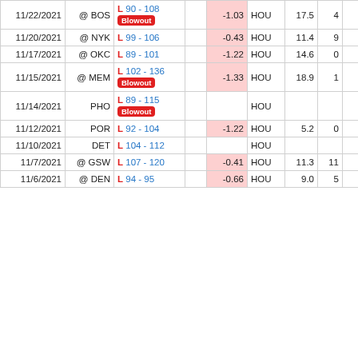| Date | Opp | Score |  | Metric | Team | Stat1 | Stat2 | Stat3 | Stat4 |
| --- | --- | --- | --- | --- | --- | --- | --- | --- | --- |
| 11/22/2021 | @ BOS | L 90 - 108 [Blowout] |  | -1.03 | HOU | 17.5 | 4 | 0 | 1 |
| 11/20/2021 | @ NYK | L 99 - 106 |  | -0.43 | HOU | 11.4 | 9 | 1 | 1 |
| 11/17/2021 | @ OKC | L 89 - 101 |  | -1.22 | HOU | 14.6 | 0 | 0 | 2 |
| 11/15/2021 | @ MEM | L 102 - 136 [Blowout] |  | -1.33 | HOU | 18.9 | 1 | 0 | 0 |
| 11/14/2021 | PHO | L 89 - 115 [Blowout] |  |  | HOU |  |  |  |  |
| 11/12/2021 | POR | L 92 - 104 |  | -1.22 | HOU | 5.2 | 0 | 0 | 0 |
| 11/10/2021 | DET | L 104 - 112 |  |  | HOU |  |  |  |  |
| 11/7/2021 | @ GSW | L 107 - 120 |  | -0.41 | HOU | 11.3 | 11 | 1 | 0 |
| 11/6/2021 | @ DEN | L 94 - 95 |  | -0.66 | HOU | 9.0 | 5 | 1 | 1 |